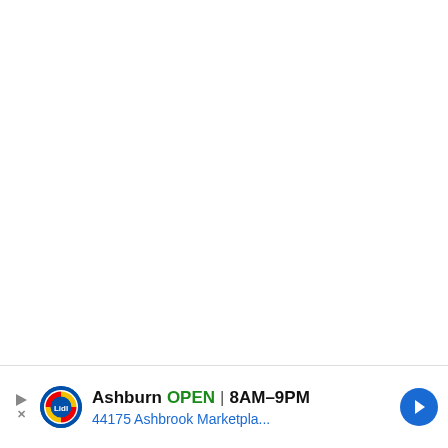[Figure (photo): Photo showing a children's playground structure with red wooden post/beam, green painted wall/panel on the right, blue curved trim in the middle, and wood chip/gravel ground covering. Sandy/gravelly area visible in upper portion. The left half of the image area is white (blank).]
[Figure (other): Advertisement banner at the bottom: Lidl logo (circular blue/yellow/red), text 'Ashburn OPEN 8AM-9PM' and '44175 Ashbrook Marketpla...' with a blue navigation arrow button. Play/close button on the left. X close button in upper right corner of ad area.]